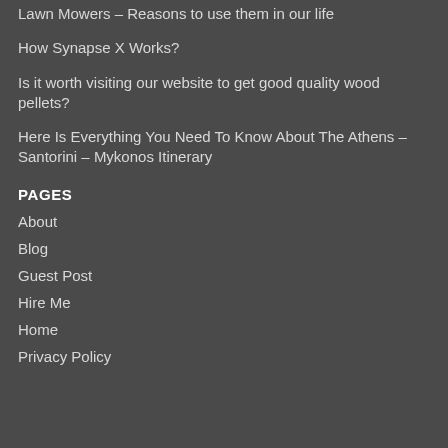Lawn Mowers – Reasons to use them in our life
How Synapse X Works?
Is it worth visiting our website to get good quality wood pellets?
Here Is Everything You Need To Know About The Athens – Santorini – Mykonos Itinerary
PAGES
About
Blog
Guest Post
Hire Me
Home
Privacy Policy